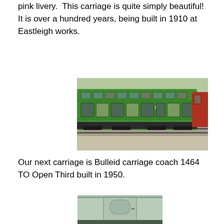pink livery.  This carriage is quite simply beautiful!  It is over a hundred years, being built in 1910 at Eastleigh works.
[Figure (photo): Side view of a green railway passenger carriage on tracks, with multiple windows visible along its length. A red carriage is partially visible at the far right end.]
Our next carriage is Bulleid carriage coach 1464 TO Open Third built in 1950.
[Figure (photo): Partial view of a light green/grey Bulleid railway carriage showing a door with arched window detail.]